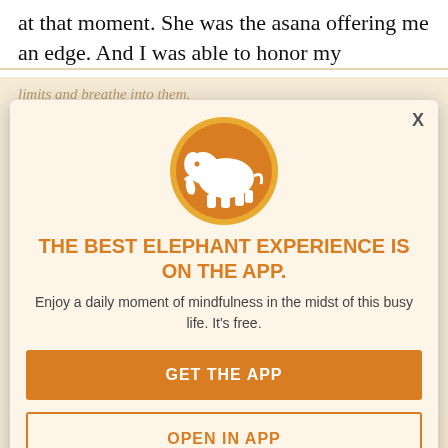at that moment. She was the asana offering me an edge. And I was able to honor my
limits and breathe into them. I sent her love and gratitude as I drove home. And the answer to what happened during my practice on the mat arose within and now—the...
[Figure (logo): Elephant Journal app promotion modal with elephant logo on orange circle, headline, subtext, and two buttons]
THE BEST ELEPHANT EXPERIENCE IS ON THE APP.
Enjoy a daily moment of mindfulness in the midst of this busy life. It's free.
GET THE APP
OPEN IN APP